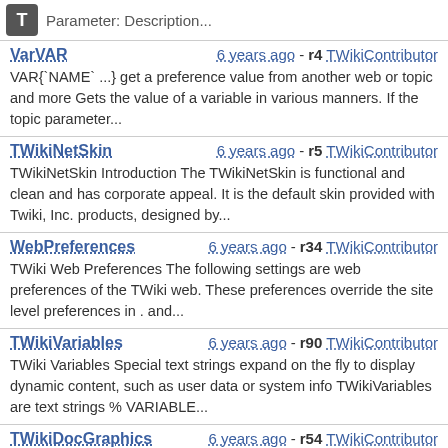Parameter: Description...
VarVAR | 6 years ago - r4 | TWikiContributor
VAR{`NAME` ...} get a preference value from another web or topic and more Gets the value of a variable in various manners. If the topic parameter...
TWikiNetSkin | 6 years ago - r5 | TWikiContributor
TWikiNetSkin Introduction The TWikiNetSkin is functional and clean and has corporate appeal. It is the default skin provided with Twiki, Inc. products, designed by...
WebPreferences | 6 years ago - r34 | TWikiContributor
TWiki Web Preferences The following settings are web preferences of the TWiki web. These preferences override the site level preferences in . and...
TWikiVariables | 6 years ago - r90 | TWikiContributor
TWiki Variables Special text strings expand on the fly to display dynamic content, such as user data or system info TWikiVariables are text strings % VARIABLE...
TWikiDocGraphics | 6 years ago - r54 | TWikiContributor
TWiki Documentation Graphics and File Type Icons This is the TWiki Documentation Graphics library. The graphics can be used in topics and by web applications. All...